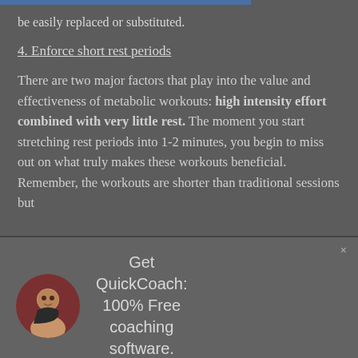be easily replaced or substituted.
4. Enforce short rest periods
There are two major factors that play into the value and effectiveness of metabolic workouts: high intensity effort combined with very little rest. The moment you start stretching rest periods into 1-2 minutes, you begin to miss out on what truly makes these workouts beneficial. Remember, the workouts are shorter than traditional sessions but
[Figure (infographic): Advertisement panel for QuickCoach app showing a circular avatar photo of a man, text reading 'Get QuickCoach: 100% Free coaching software.' and a 'Learn More' button with arrow.]